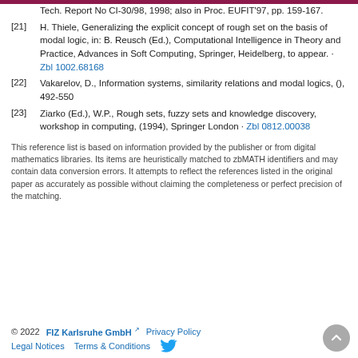[21] H. Thiele, Generalizing the explicit concept of rough set on the basis of modal logic, in: B. Reusch (Ed.), Computational Intelligence in Theory and Practice, Advances in Soft Computing, Springer, Heidelberg, to appear. · Zbl 1002.68168
[22] Vakarelov, D., Information systems, similarity relations and modal logics, (), 492-550
[23] Ziarko (Ed.), W.P., Rough sets, fuzzy sets and knowledge discovery, workshop in computing, (1994), Springer London · Zbl 0812.00038
This reference list is based on information provided by the publisher or from digital mathematics libraries. Its items are heuristically matched to zbMATH identifiers and may contain data conversion errors. It attempts to reflect the references listed in the original paper as accurately as possible without claiming the completeness or perfect precision of the matching.
© 2022   FIZ Karlsruhe GmbH   Privacy Policy   Legal Notices   Terms & Conditions